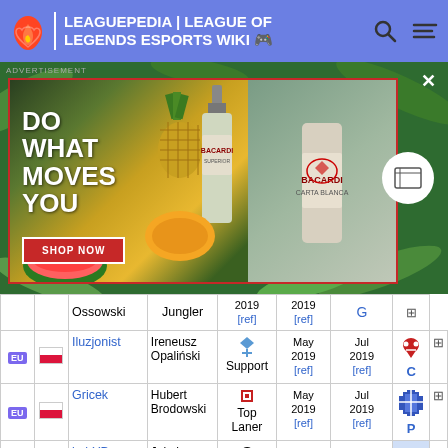LEAGUEPEDIA | LEAGUE OF LEGENDS ESPORTS WIKI
[Figure (screenshot): Bacardi advertisement banner: tropical fruit background with DO WHAT MOVES YOU text and SHOP NOW button, Bacardi bottle visible]
| Region | Flag | Player | Name | Role | Join Date | Leave Date | Team |  |
| --- | --- | --- | --- | --- | --- | --- | --- | --- |
| EU | PL | Ossowski |  | Jungler | 2019 [ref] | 2019 [ref] | G |  |
| EU | PL | Iluzjonist | Ireneusz Opaliński | Support | May 2019 [ref] | Jul 2019 [ref] | C |  |
| EU | PL | Gricek | Hubert Brodowski | Top Laner | May 2019 [ref] | Jul 2019 [ref] | P |  |
| EU | PL | kubYD | Jakub Grobelny | Sub/Sup | Mar 2019 [ref] | May 2019 [ref] | VE |  |